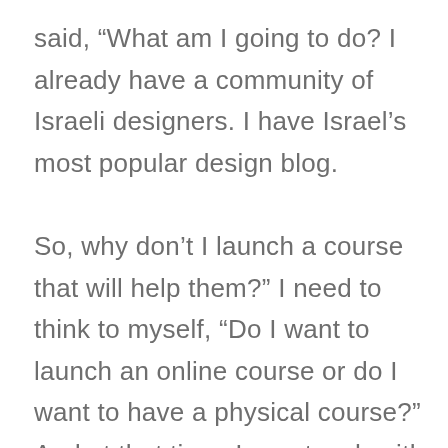said, “What am I going to do? I already have a community of Israeli designers. I have Israel’s most popular design blog.

So, why don’t I launch a course that will help them?” I need to think to myself, “Do I want to launch an online course or do I want to have a physical course?” And at that time, I was touch with a Design College in Tel Aviv and I met with their founder and we were like,